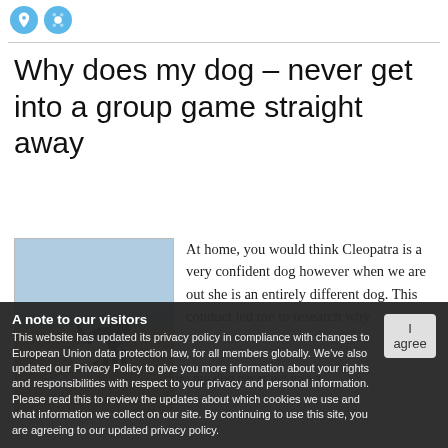[Figure (logo): Two circular blue social/share icons at top left]
Why does my dog – never get into a group game straight away
[Figure (photo): Photo of dogs playing on a beach — a black dog and a white dog running, with another small dog wearing a red collar in the foreground]
At home, you would think Cleopatra is a very confident dog however when we are out she is an entirely different dog. This conduct led me to research why
does my dog never get into a
A note to our visitors
This website has updated its privacy policy in compliance with changes to European Union data protection law, for all members globally. We've also updated our Privacy Policy to give you more information about your rights and responsibilities with respect to your privacy and personal information. Please read this to review the updates about which cookies we use and what information we collect on our site. By continuing to use this site, you are agreeing to our updated privacy policy.